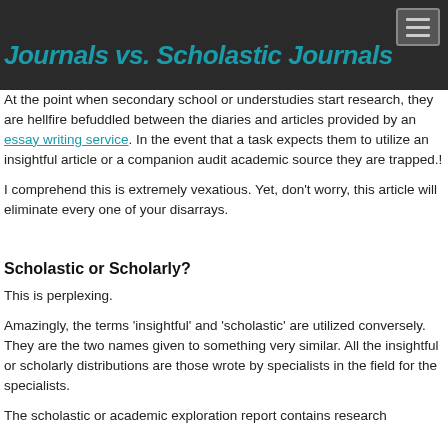Journals vs. Scholastic Journals
At the point when secondary school or understudies start research, they are hellfire befuddled between the diaries and articles provided by an essay writing service. In the event that a task expects them to utilize an insightful article or a companion audit academic source they are trapped.!
I comprehend this is extremely vexatious. Yet, don't worry, this article will eliminate every one of your disarrays.
Scholastic or Scholarly?
This is perplexing.
Amazingly, the terms 'insightful' and 'scholastic' are utilized conversely. They are the two names given to something very similar. All the insightful or scholarly distributions are those wrote by specialists in the field for the specialists.
The scholastic or academic exploration report contains research